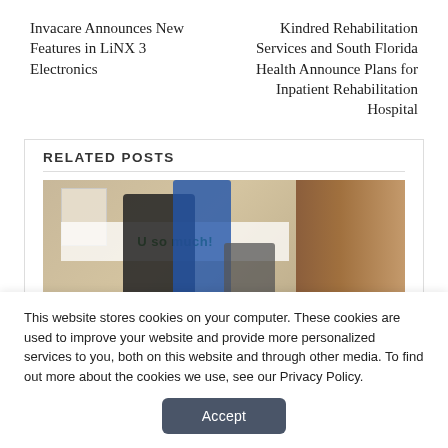Invacare Announces New Features in LiNX 3 Electronics
Kindred Rehabilitation Services and South Florida Health Announce Plans for Inpatient Rehabilitation Hospital
RELATED POSTS
[Figure (photo): Healthcare workers assisting a patient, with a thank you banner visible in the background, and a wooden door on the right side.]
This website stores cookies on your computer. These cookies are used to improve your website and provide more personalized services to you, both on this website and through other media. To find out more about the cookies we use, see our Privacy Policy.